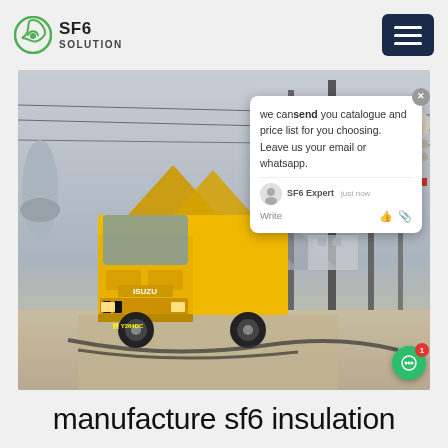SF6 SOLUTION
[Figure (photo): Yellow ISUZU truck at an electrical substation with power transmission equipment. A chat popup is overlaid on the image with message: 'we can send you catalogue and price list for you choosing. Leave us your email or whatsapp.' Signed by SF6 Expert.]
manufacture sf6 insulation